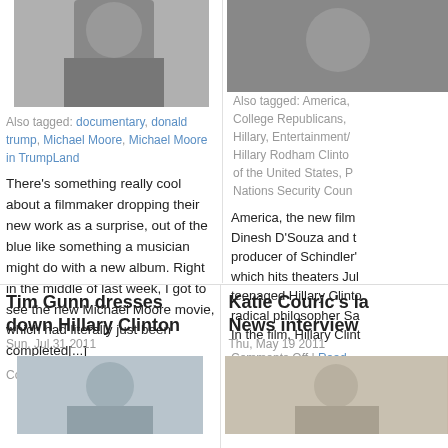[Figure (photo): Photo of Michael Moore pointing finger, cropped top portion visible]
Also tagged: documentary, donald trump, Michael Moore, Michael Moore in TrumpLand
There's something really cool about a filmmaker dropping their new work as a surprise, out of the blue like something a musician might do with a new album. Right in the middle of last week, I got to see the new Michael Moore movie, which had literally just been completed[...]
Comments Off | Read More »
[Figure (photo): Partial photo on right side, dark toned image cropped]
Also tagged: America, College Republicans, Hillary, Entertainment/, Hillary Rodham Clinto, of the United States, P, Nations Security Coun
America, the new film Dinesh D'Souza and t producer of Schindler' which hits theaters Jul teenaged Hillary Clinto radical philosopher Sa In the film, Hillary Clint
Comments Off | Read
Tim Gunn dresses down Hillary Clinton
Sun, Jul 31 2011
[Figure (photo): Photo of Tim Gunn, man with glasses on blue background, bottom portion of page]
Katie Couric's la News interview
Thu, May 19 2011
[Figure (photo): Partial photo of woman on right side bottom]